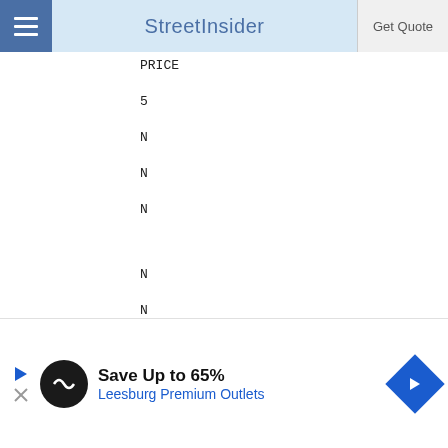StreetInsider
PRICE
5
N
N
N
N
N
N
LOUISIANA ST LOCAL GOVT ENVRNM
5493004WIZ1HV87IVF85
546282G99
150000
[Figure (other): Advertisement banner: Save Up to 65% Leesburg Premium Outlets]